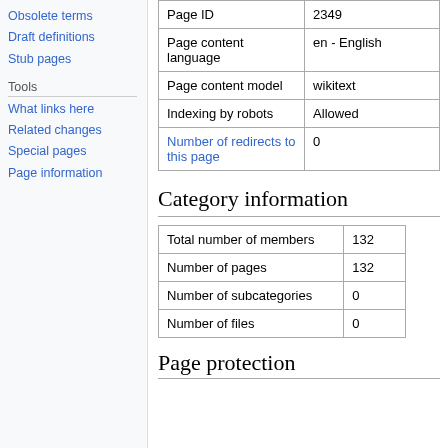Obsolete terms
Draft definitions
Stub pages
Tools
What links here
Related changes
Special pages
Page information
| Page ID | 2349 |
| Page content language | en - English |
| Page content model | wikitext |
| Indexing by robots | Allowed |
| Number of redirects to this page | 0 |
Category information
| Total number of members | 132 |
| Number of pages | 132 |
| Number of subcategories | 0 |
| Number of files | 0 |
Page protection